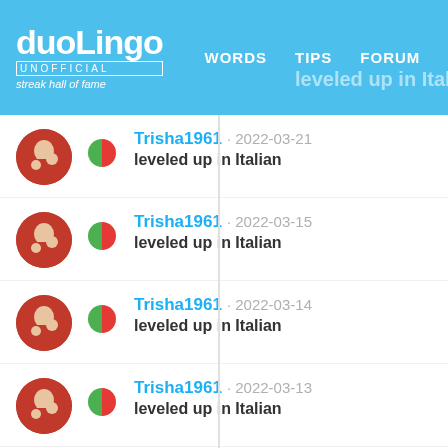duolingo UNOFFICIAL streak hall of fame | WORDS | TIPS | FORUM
Trisha1961 · 2022-03-21 leveled up in Italian
Trisha1961 · 2022-03-15 leveled up in Italian
Trisha1961 · 2022-03-14 leveled up in Italian
Trisha1961 · 2022-03-13 leveled up in Italian
Trisha1961 · 2022-03-11 leveled up in Italian
Trisha1961 · 2022-03-09